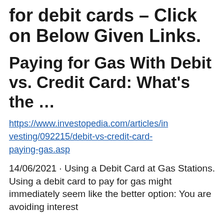for debit cards – Click on Below Given Links.
Paying for Gas With Debit vs. Credit Card: What's the …
https://www.investopedia.com/articles/investing/092215/debit-vs-credit-card-paying-gas.asp
14/06/2021 · Using a Debit Card at Gas Stations. Using a debit card to pay for gas might immediately seem like the better option: You are avoiding interest